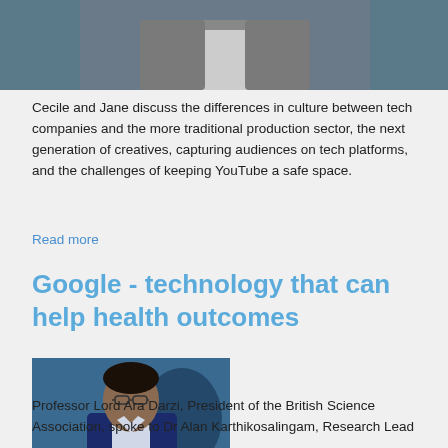[Figure (photo): Partial photo of a person in a suit against a teal/dark background, cropped at top of page]
Cecile and Jane discuss the differences in culture between tech companies and the more traditional production sector, the next generation of creatives, capturing audiences on tech platforms, and the challenges of keeping YouTube a safe space.
Read more
Google - technology that can help health outcomes
[Figure (photo): Professor Lord Ara Darzi seated, wearing a navy blazer and glasses, in front of a blue studio background]
Professor Lord Ara Darzi, President of the British Science Association, spoke to Dr Alan Karthikosalingam, Research Lead